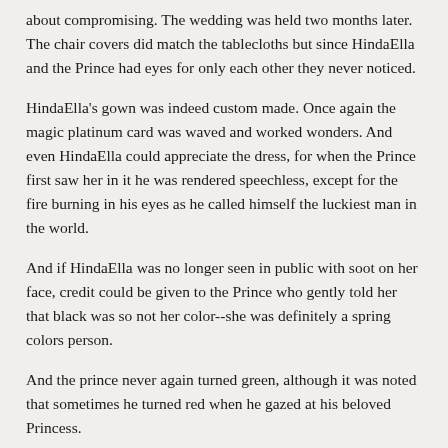about compromising. The wedding was held two months later. The chair covers did match the tablecloths but since HindaElla and the Prince had eyes for only each other they never noticed.
HindaElla's gown was indeed custom made. Once again the magic platinum card was waved and worked wonders. And even HindaElla could appreciate the dress, for when the Prince first saw her in it he was rendered speechless, except for the fire burning in his eyes as he called himself the luckiest man in the world.
And if HindaElla was no longer seen in public with soot on her face, credit could be given to the Prince who gently told her that black was so not her color--she was definitely a spring colors person.
And the prince never again turned green, although it was noted that sometimes he turned red when he gazed at his beloved Princess.
After a while no one commented any more about the frog that took up permanent residence with the Prince and HindaElla, except perhaps when they could swear they heard the frog whispering.